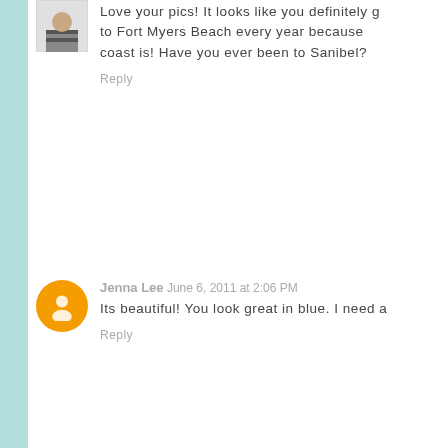Love your pics! It looks like you definitely g to Fort Myers Beach every year because coast is! Have you ever been to Sanibel?
Reply
Jenna Lee June 6, 2011 at 2:06 PM
Its beautiful! You look great in blue. I need a
Reply
Katie June 6, 2011 at 2:30 PM
Gorgeous photos!
Reply
Shari June 6, 2011 at 5:02 PM
I love all of the photos. Gorgeou ks lik
Reply
[Figure (illustration): Gold/tan outlined triangle watermark overlay in lower right]